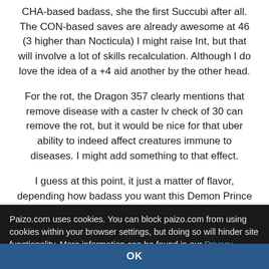CHA-based badass, she the first Succubi after all. The CON-based saves are already awesome at 46 (3 higher than Nocticula) I might raise Int, but that will involve a lot of skills recalculation. Although I do love the idea of a +4 aid another by the other head.
For the rot, the Dragon 357 clearly mentions that remove disease with a caster lv check of 30 can remove the rot, but it would be nice for that uber ability to indeed affect creatures immune to diseases. I might add something to that effect.
I guess at this point, it just a matter of flavor, depending how badass you want this Demon Prince to be.
Paizo.com uses cookies. You can block paizo.com from using cookies within your browser settings, but doing so will hinder site functionality. More information can be found in our Privacy Policy.
OK